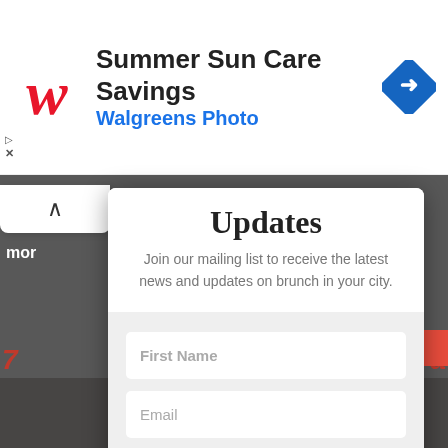[Figure (screenshot): Walgreens ad banner with logo, 'Summer Sun Care Savings' title, 'Walgreens Photo' subtitle, and a blue diamond-shaped navigation arrow icon on the right.]
Updates
Join our mailing list to receive the latest news and updates on brunch in your city.
First Name
Email
SUBSCRIBE!